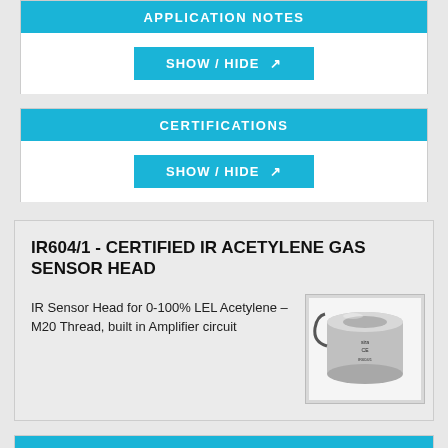APPLICATION NOTES
SHOW / HIDE
CERTIFICATIONS
SHOW / HIDE
IR604/1 - CERTIFIED IR ACETYLENE GAS SENSOR HEAD
IR Sensor Head for 0-100% LEL Acetylene – M20 Thread, built in Amplifier circuit
[Figure (photo): Photo of the IR604/1 IR acetylene gas sensor head – a cylindrical metal device with sira CE certification markings]
DATASHEETS
SHOW / HIDE